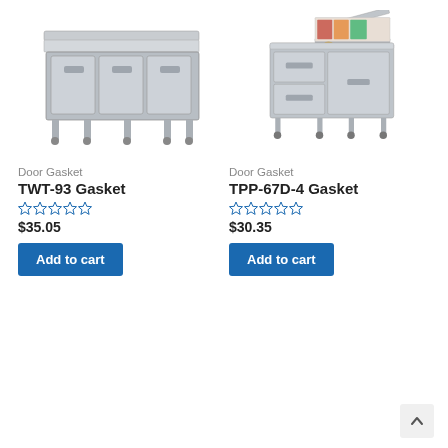[Figure (photo): Stainless steel commercial refrigerated work table with 3 doors (TWT-93)]
Door Gasket
TWT-93 Gasket
★★★★★ (0 ratings)
$35.05
Add to cart
[Figure (photo): Stainless steel commercial pizza prep table with 4 drawers and open top (TPP-67D-4)]
Door Gasket
TPP-67D-4 Gasket
★★★★★ (0 ratings)
$30.35
Add to cart